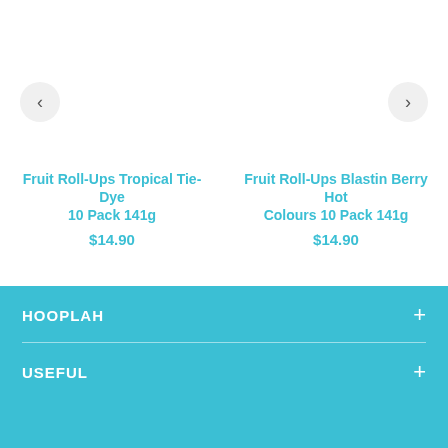[Figure (screenshot): Left navigation arrow button (chevron left) in a light gray circular button]
[Figure (screenshot): Right navigation arrow button (chevron right) in a light gray circular button]
Fruit Roll-Ups Tropical Tie-Dye 10 Pack 141g
$14.90
Fruit Roll-Ups Blastin Berry Hot Colours 10 Pack 141g
$14.90
HOOPLAH
USEFUL